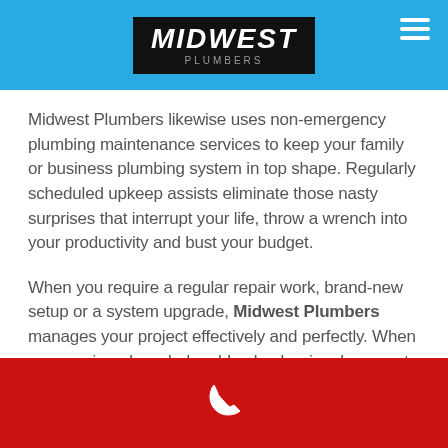[Figure (logo): Midwest Plumbers logo on black background in header bar]
Midwest Plumbers likewise uses non-emergency plumbing maintenance services to keep your family or business plumbing system in top shape. Regularly scheduled upkeep assists eliminate those nasty surprises that interrupt your life, throw a wrench into your productivity and bust your budget.
When you require a regular repair work, brand-new setup or a system upgrade, Midwest Plumbers manages your project effectively and perfectly. When you require a knowledgeable plumber in a hurry, get in touch with Midwest Plumbers 24 hours a day, 7 days a week.
[Figure (illustration): White phone/call icon on red footer bar]